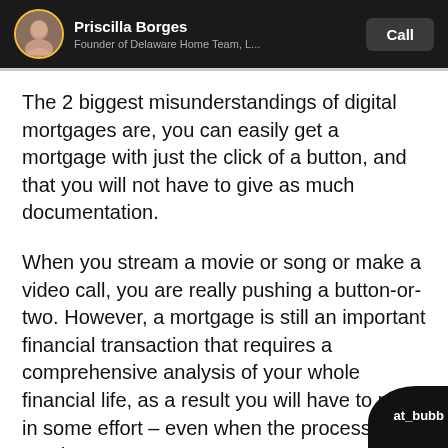Priscilla Borges
Founder of Delaware Home Team, L...
The 2 biggest misunderstandings of digital mortgages are, you can easily get a mortgage with just the click of a button, and that you will not have to give as much documentation.
When you stream a movie or song or make a video call, you are really pushing a button-or-two. However, a mortgage is still an important financial transaction that requires a comprehensive analysis of your whole financial life, as a result you will have to put-in some effort – even when the process is sped up.